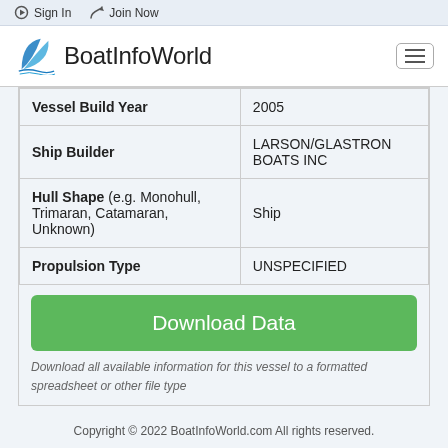Sign In   Join Now
BoatInfoWorld
| Field | Value |
| --- | --- |
| Vessel Build Year | 2005 |
| Ship Builder | LARSON/GLASTRON BOATS INC |
| Hull Shape (e.g. Monohull, Trimaran, Catamaran, Unknown) | Ship |
| Propulsion Type | UNSPECIFIED |
Download Data
Download all available information for this vessel to a formatted spreadsheet or other file type
Copyright © 2022 BoatInfoWorld.com All rights reserved.